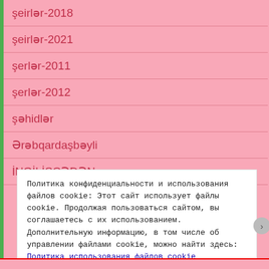şeirlər-2018
şeirlər-2021
şerlər-2011
şerlər-2012
şəhidlər
Ərəbqardaşbəyli
İNGİLİSCƏDƏN
Политика конфиденциальности и использования файлов cookie: Этот сайт использует файлы cookie. Продолжая пользоваться сайтом, вы соглашаетесь с их использованием. Дополнительную информацию, в том числе об управлении файлами cookie, можно найти здесь: Политика использования файлов cookie
Принять и закрыть